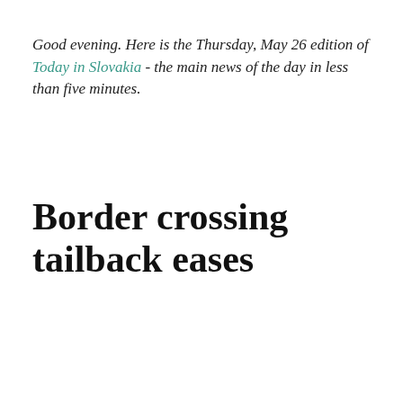Good evening. Here is the Thursday, May 26 edition of Today in Slovakia - the main news of the day in less than five minutes.
Border crossing tailback eases